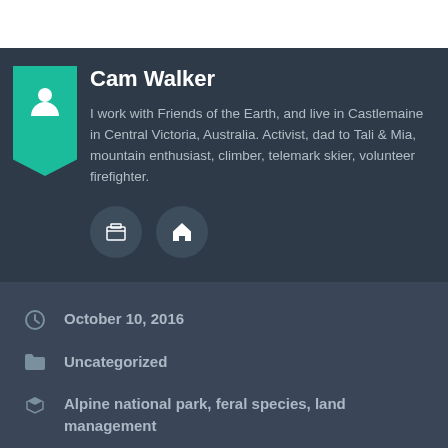Cam Walker
I work with Friends of the Earth, and live in Castlemaine in Central Victoria, Australia. Activist, dad to Tali & Mia, mountain enthusiast, climber, telemark skier, volunteer firefighter.
October 10, 2016
Uncategorized
Alpine national park, feral species, land management